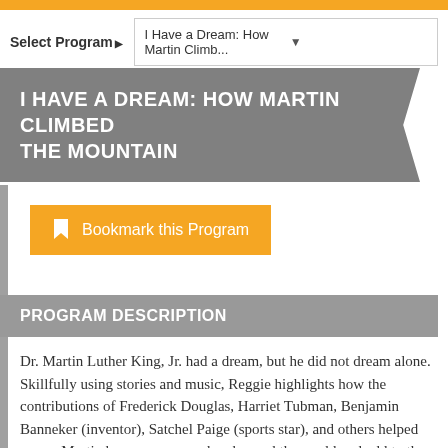Select Program ▶  I Have a Dream: How Martin Climb...
I HAVE A DREAM: HOW MARTIN CLIMBED THE MOUNTAIN
Bookmark this Program
PROGRAM DESCRIPTION
Dr. Martin Luther King, Jr. had a dream, but he did not dream alone. Skillfully using stories and music, Reggie highlights how the contributions of Frederick Douglas, Harriet Tubman, Benjamin Banneker (inventor), Satchel Paige (sports star), and others helped young Martin become a man who changed the world and add to the fabric of our nation.